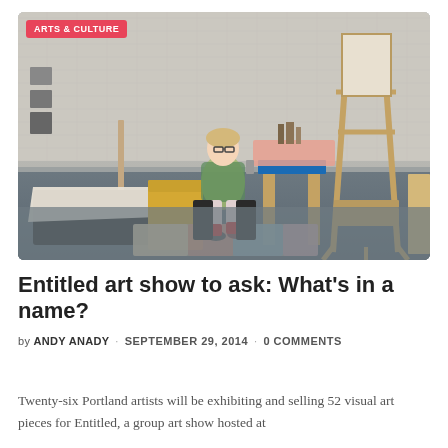[Figure (photo): An artist sitting on a chair in a studio space with a yellow couch draped in a white blanket, a wooden easel on the right, a side table with a pink tablecloth, and white-painted brick walls in the background.]
Entitled art show to ask: What's in a name?
by ANDY ANADY · SEPTEMBER 29, 2014 · 0 COMMENTS
Twenty-six Portland artists will be exhibiting and selling 52 visual art pieces for Entitled, a group art show hosted at